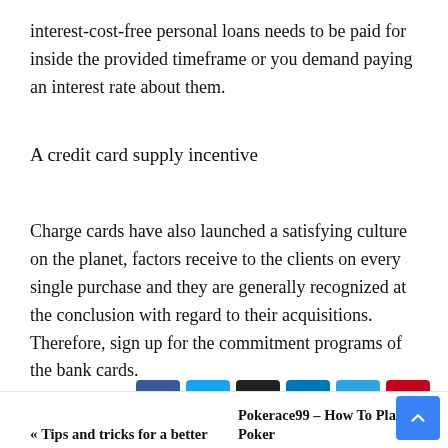interest-cost-free personal loans needs to be paid for inside the provided timeframe or you demand paying an interest rate about them.
A credit card supply incentive
Charge cards have also launched a satisfying culture on the planet, factors receive to the clients on every single purchase and they are generally recognized at the conclusion with regard to their acquisitions. Therefore, sign up for the commitment programs of the bank cards.
[Figure (infographic): Social sharing buttons: Facebook (blue), Twitter (light blue), Email (black), LinkedIn (dark blue), Telegram (blue), Pinterest (red)]
« Tips and tricks for a better    Pokerace99 – How To Play Poker